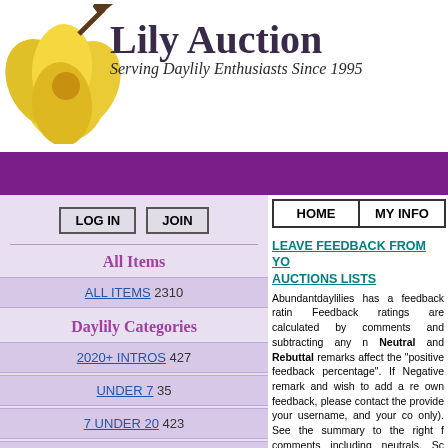[Figure (logo): Lily Auction logo with yellow hibiscus flower and auction gavel, text 'Lily Auction' and tagline 'Serving Daylily Enthusiasts Since 1995']
LOG IN
JOIN
All Items
ALL ITEMS 2310
Daylily Categories
2020+ INTROS 427
UNDER 7 35
7 UNDER 20 423
20 & OVER 328
HOME
MY INFO
LEAVE FEEDBACK FROM YOUR AUCTIONS LISTS
Abundantdaylilies has a feedback rating. Feedback ratings are calculated by comments and subtracting any negative. Neutral and Rebuttal remarks affect the "positive feedback percentage". If a Negative remark and wish to add a rebuttal own feedback, please contact the provide your username, and your comments only). See the summary to the right for comments including neutrals. Scroll comments left by others for Abundanto